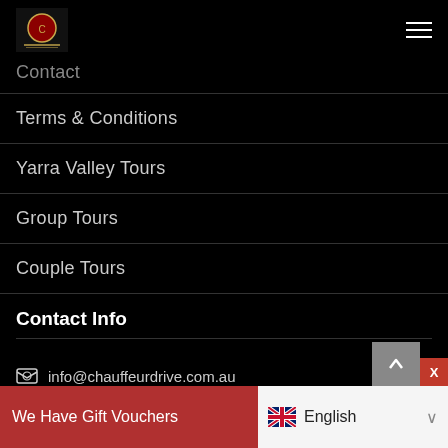Chauffeur Drive logo and hamburger menu
Contact
Terms & Conditions
Yarra Valley Tours
Group Tours
Couple Tours
Contact Info
info@chauffeurdrive.com.au
We Have Gift Vouchers  Get Now!  English